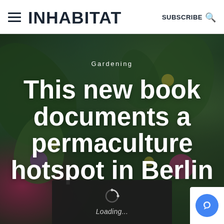INHABITAT — SUBSCRIBE
[Figure (photo): Hero image of a garden with green leaves, colorful flowers including pink, purple, and yellow blooms on a dark background. Text overlay shows category 'Gardening' and article title 'This new book documents a permaculture hotspot in Berlin'. A loading spinner overlay is visible at the bottom center, and a reCAPTCHA badge is at the bottom right.]
This new book documents a permaculture hotspot in Berlin
Gardening